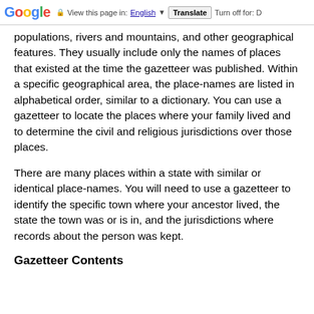Google  View this page in: English  Translate  Turn off for: D
populations, rivers and mountains, and other geographical features. They usually include only the names of places that existed at the time the gazetteer was published. Within a specific geographical area, the place-names are listed in alphabetical order, similar to a dictionary. You can use a gazetteer to locate the places where your family lived and to determine the civil and religious jurisdictions over those places.
There are many places within a state with similar or identical place-names. You will need to use a gazetteer to identify the specific town where your ancestor lived, the state the town was or is in, and the jurisdictions where records about the person was kept.
Gazetteer Contents